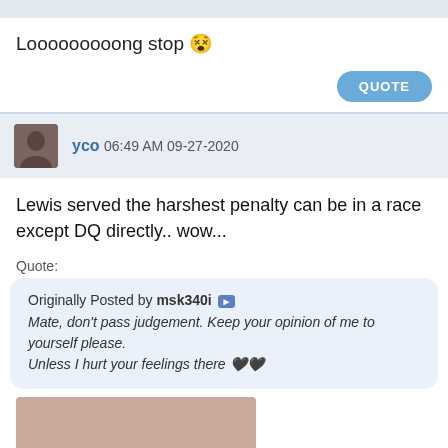Looooooooong stop 😵
QUOTE
yco 06:49 AM 09-27-2020
Lewis served the harshest penalty can be in a race except DQ directly.. wow...
Quote: Originally Posted by msk340i ▶ Mate, don't pass judgement. Keep your opinion of me to yourself please. Unless I hurt your feelings there 🖤🖤
[Figure (photo): Partial photo visible at bottom of page, brownish/flesh-toned background]